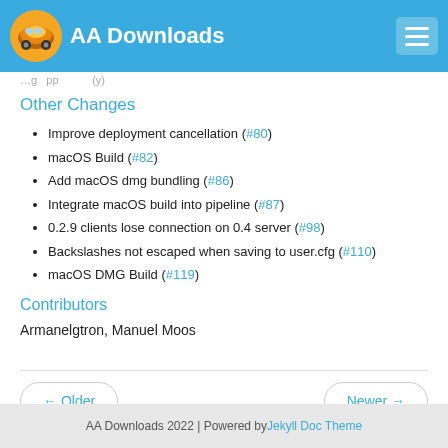AA Downloads
...partial text cut off at top...
Other Changes
Improve deployment cancellation (#80)
macOS Build (#82)
Add macOS dmg bundling (#86)
Integrate macOS build into pipeline (#87)
0.2.9 clients lose connection on 0.4 server (#98)
Backslashes not escaped when saving to user.cfg (#110)
macOS DMG Build (#119)
Contributors
Armanelgtron, Manuel Moos
AA Downloads 2022 | Powered by Jekyll Doc Theme